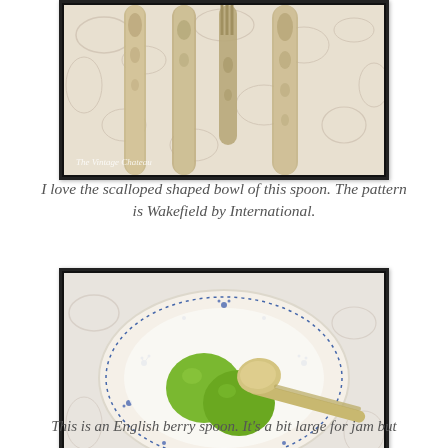[Figure (photo): Top portion of decorative silverware handles laid on embroidered fabric, showing ornate patterns. Watermark reads 'The Vintage Chateau'.]
I love the scalloped shaped bowl of this spoon. The pattern is Wakefield by International.
[Figure (photo): A gold/silver spoon resting on a blue and white patterned oval plate with two green limes. Watermark reads 'The Vintage Chateau'.]
This is an English berry spoon. It's a bit large for jam but